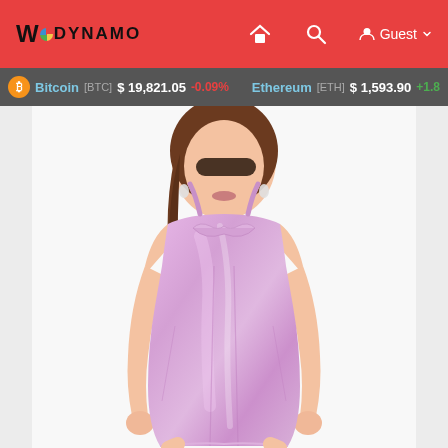WoDYNAMO — Navigation bar with home, search icons and Guest user menu
Bitcoin [BTC] $ 19,821.05 -0.09% Ethereum [ETH] $ 1,593.90 +1.8
[Figure (photo): A plus-size woman model wearing a shiny lavender/pink PVC bodycon dress with spaghetti straps, posed against a white background. The dress is form-fitting and knee-length with a sweetheart neckline.]